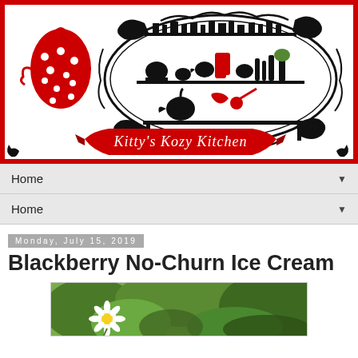[Figure (logo): Kitty's Kozy Kitchen blog header logo with red apron, decorative oval frame with kitchen shelves silhouette and red banner with cursive text 'Kitty's Kozy Kitchen']
Home ▼
Home ▼
Monday, July 15, 2019
Blackberry No-Churn Ice Cream
[Figure (photo): Outdoor garden photo with flowers (daisy visible) and green foliage in background]